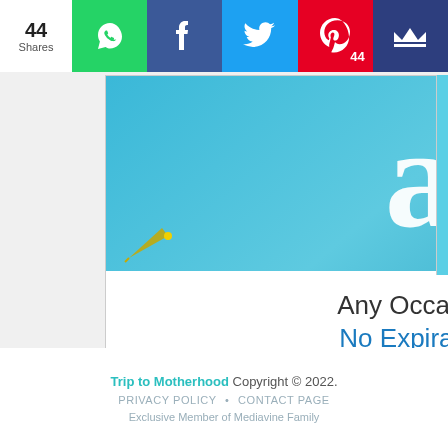44 Shares
[Figure (screenshot): Social share bar with WhatsApp (green), Facebook (dark blue), Twitter (light blue), Pinterest (red, 44 pins), and Crown (dark blue) buttons]
[Figure (photo): Amazon gift card advertisement showing an Amazon gift card with the 'a' logo, text 'Any Occasion. No Expiration.' with a 'Shop now' link and Privacy note]
Trip to Motherhood Copyright © 2022. PRIVACY POLICY • CONTACT PAGE Exclusive Member of Mediavine Family